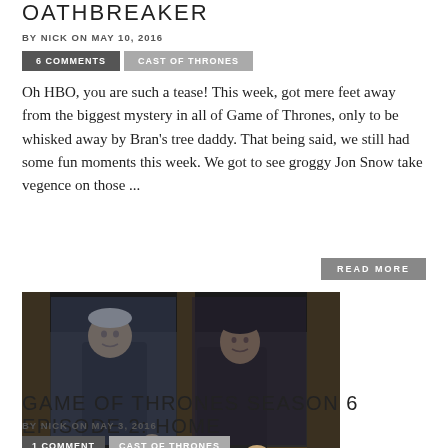OATHBREAKER
BY NICK ON MAY 10, 2016
6 COMMENTS | CAST OF THRONES
Oh HBO, you are such a tease! This week, got mere feet away from the biggest mystery in all of Game of Thrones, only to be whisked away by Bran's tree daddy. That being said, we still had some fun moments this week. We got to see groggy Jon Snow take vegence on those ...
READ MORE
[Figure (photo): Two characters from Game of Thrones standing at a wooden structure, one older man in dark robes and one younger man in a dark jacket, both looking outward]
GAME OF THRONES SEASON 6 EPISODE 2: HOME
BY NICK ON MAY 3, 2016
1 COMMENT | CAST OF THRONES